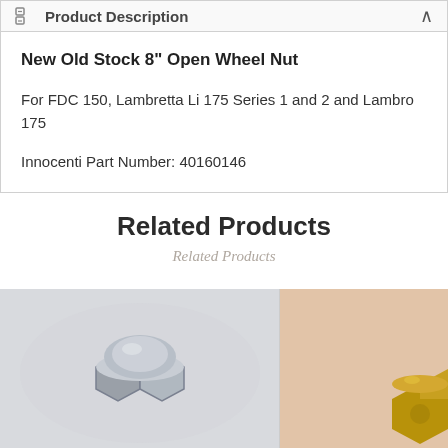Product Description
New Old Stock 8" Open Wheel Nut
For FDC 150, Lambretta Li 175 Series 1 and 2 and Lambro 175
Innocenti Part Number: 40160146
Related Products
Related Products
[Figure (photo): Photo of a silver/chrome open wheel nut on a light grey background]
[Figure (photo): Photo of a brass/gold nut on a peach/beige background, partially visible]